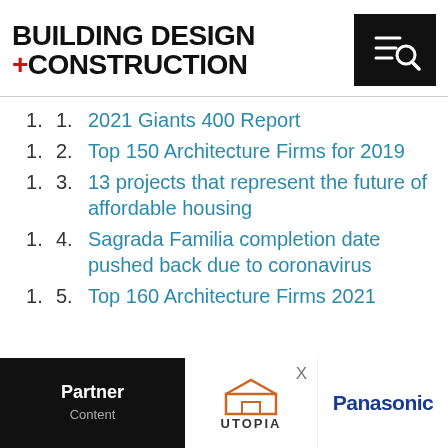BUILDING DESIGN +CONSTRUCTION
2021 Giants 400 Report
Top 150 Architecture Firms for 2019
13 projects that represent the future of affordable housing
Sagrada Familia completion date pushed back due to coronavirus
Top 160 Architecture Firms 2021
Partner | UTOPIA | Panasonic